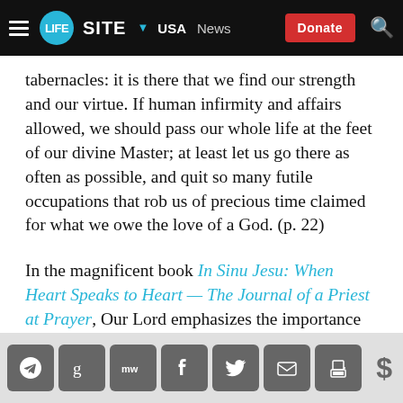LifeSite — USA News — Donate
tabernacles: it is there that we find our strength and our virtue. If human infirmity and affairs allowed, we should pass our whole life at the feet of our divine Master; at least let us go there as often as possible, and quit so many futile occupations that rob us of precious time claimed for what we owe the love of a God. (p. 22)
In the magnificent book In Sinu Jesu: When Heart Speaks to Heart — The Journal of a Priest at Prayer, Our Lord emphasizes the importance of these visits and expresses His displeasure at churches that are kept locked:
Social share icons: Telegram, Gab, MeWe, Facebook, Twitter, Email, Print, Donate